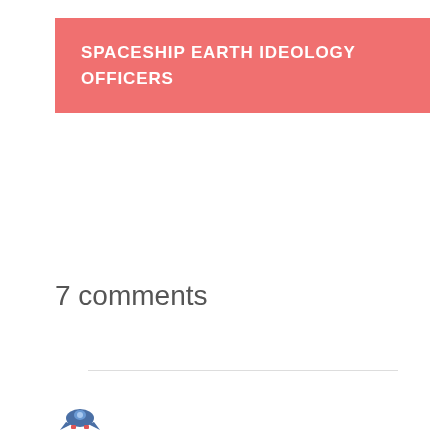SPACESHIP EARTH IDEOLOGY OFFICERS
7 comments
[Figure (logo): Small blue spaceship/rocket logo icon at bottom left]